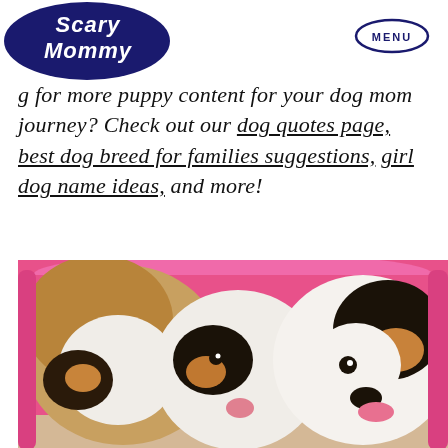Scary Mommy | MENU
...g for more puppy content for your dog mom journey? Check out our dog quotes page, best dog breed for families suggestions, girl dog name ideas, and more!
[Figure (photo): Several small puppies (Cavalier King Charles Spaniel type) sitting inside a bright pink/magenta plastic tub or bucket, photographed close-up.]